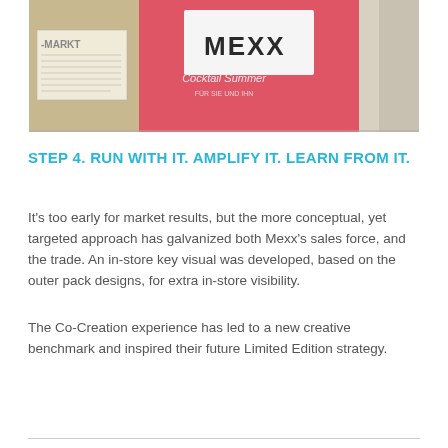[Figure (photo): In-store display of Mexx Cocktail Summer fragrance packaging — a pink/coral box with MEXX branding and 'Cocktail Summer FÜR SIE UND IHN' text, seen in a retail store setting with 'MARKT' signage visible on the left.]
STEP 4. RUN WITH IT. AMPLIFY IT. LEARN FROM IT.
It's too early for market results, but the more conceptual, yet targeted approach has galvanized both Mexx's sales force, and the trade. An in-store key visual was developed, based on the outer pack designs, for extra in-store visibility.
The Co-Creation experience has led to a new creative benchmark and inspired their future Limited Edition strategy.